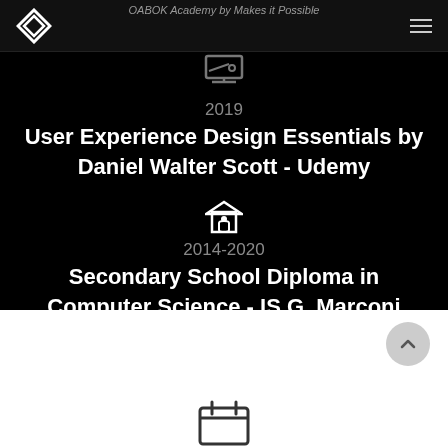OABOK Academy by Makes it Possible
2019
User Experience Design Essentials by Daniel Walter Scott - Udemy
2014-2020
Secondary School Diploma in Computer Science - IS G. Marconi